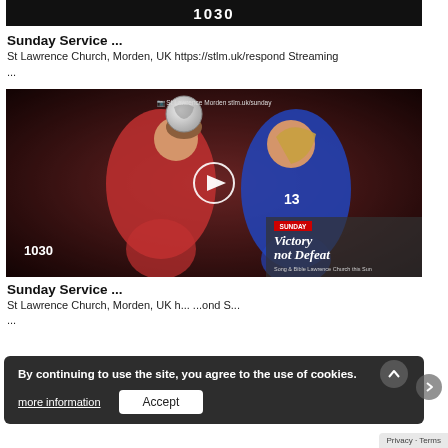[Figure (screenshot): Dark background video thumbnail showing '1030' in white bold text]
Sunday Service ...
St Lawrence Church, Morden, UK https://stlm.uk/respond Streaming ...
[Figure (screenshot): Video thumbnail of women's soccer players heading a ball, with overlay text 'Victory not Defeat', timestamp '1030', play button, and channel tag 'St Lawrence Morden stlm.uk/sunday']
Sunday Service ...
St Lawrence Church, Morden, UK h... ...ond S... ...
By continuing to use the site, you agree to the use of cookies.
more information
Accept
Privacy · Terms